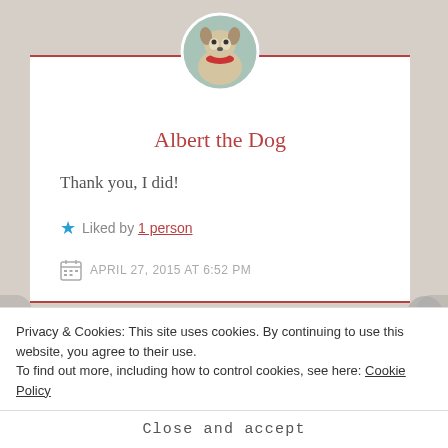[Figure (photo): Circular avatar photo of a dog (husky/shepherd mix) wearing a red bandana, shown against an outdoor background.]
Albert the Dog
Thank you, I did!
★ Liked by 1 person
APRIL 27, 2015 AT 6:52 PM
Privacy & Cookies: This site uses cookies. By continuing to use this website, you agree to their use.
To find out more, including how to control cookies, see here: Cookie Policy
Close and accept